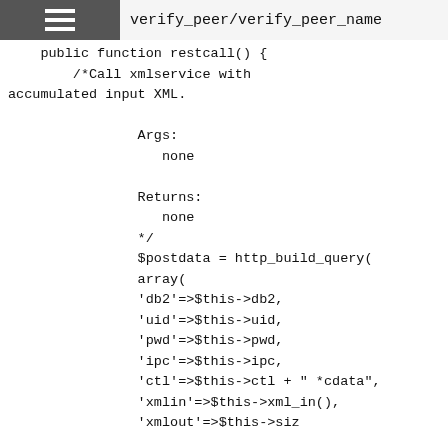verify_peer/verify_peer_name
public function restcall() {
        /*Call xmlservice with accumulated input XML.

                Args:
                   none

                Returns:
                   none
                */
                $postdata = http_build_query(
                array(
                'db2'=>$this->db2,
                'uid'=>$this->uid,
                'pwd'=>$this->pwd,
                'ipc'=>$this->ipc,
                'ctl'=>$this->ctl + " *cdata",
                'xmlin'=>$this->xml_in(),
                'xmlout'=>$this->siz